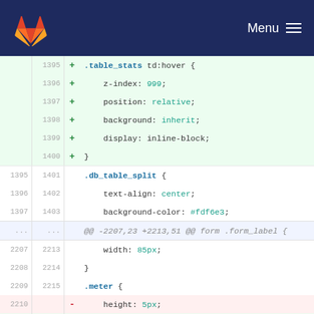GitLab logo | Menu
[Figure (screenshot): GitLab code diff showing CSS changes. Lines 1395-1400 added: .table_stats td:hover block. Lines 1395-1403 context: .db_table_split block. Lines 2207-2218 context/changes. Line 2210 removed: height: 5px; Line 2216 added: height: 15px; Lines 2211-2212 context. Line 2213 removed: background: #fff; Line 2214 removed: padding: 2px;]